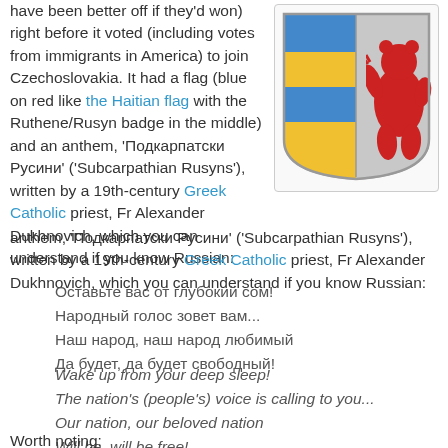have been better off if they'd won) right before it voted (including votes from immigrants in America) to join Czechoslovakia. It had a flag (blue on red like the Haitian flag with the Ruthene/Rusyn badge in the middle) and an anthem, 'Подкарпатски Русини' ('Subcarpathian Rusyns'), written by a 19th-century Greek Catholic priest, Fr Alexander Dukhnovich, which you can understand if you know Russian:
[Figure (illustration): Coat of arms / heraldic shield with blue and yellow horizontal stripes on left half, and a red bear on grey background on right half, inside a chat-bubble style bordered box]
Оставьте вас от глубокий сом!
Народный голос зовет вам...
Наш народ, наш народ любимый
Да будет, да будет свободный!
Wake up from your deep sleep!
The nation's (people's) voice is calling to you...
Our nation, our beloved nation
Will be, will be free!
Worth noting: